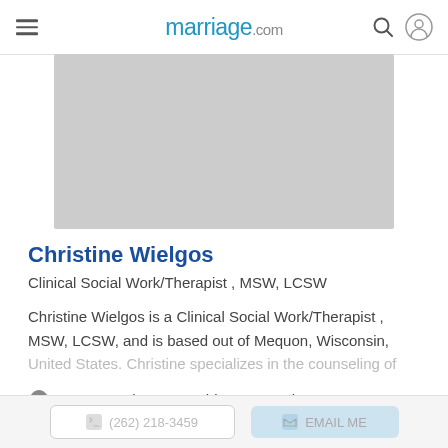marriage.com
[Figure (photo): Profile photo placeholder — gray rectangle]
Christine Wielgos
Clinical Social Work/Therapist , MSW, LCSW
Christine Wielgos is a Clinical Social Work/Therapist , MSW, LCSW, and is based out of Mequon, Wisconsin, United States. Christine specializes in the counseling of
11518 North Port Washington Road, Mequon, Wisconsin, 53092
View on Map